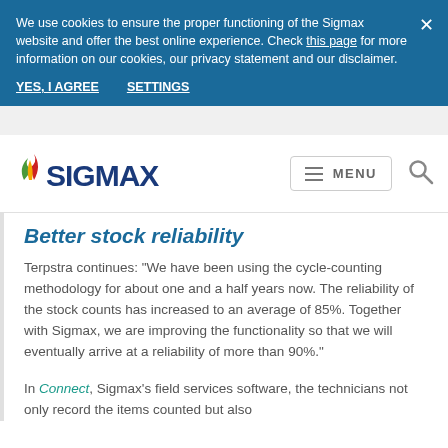We use cookies to ensure the proper functioning of the Sigmax website and offer the best online experience. Check this page for more information on our cookies, our privacy statement and our disclaimer.
YES, I AGREE    SETTINGS
[Figure (logo): Sigmax logo with colorful flame icon and blue SIGMAX text]
Better stock reliability
Terpstra continues: "We have been using the cycle-counting methodology for about one and a half years now. The reliability of the stock counts has increased to an average of 85%. Together with Sigmax, we are improving the functionality so that we will eventually arrive at a reliability of more than 90%."
In Connect, Sigmax's field services software, the technicians not only record the items counted but also